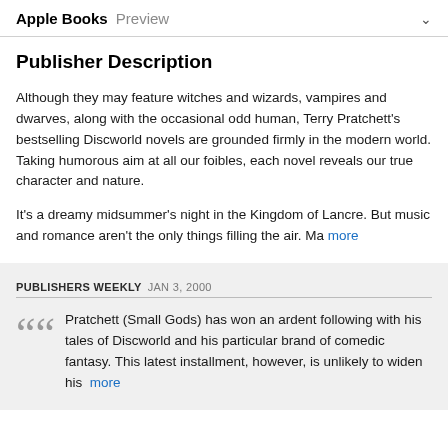Apple Books Preview
Publisher Description
Although they may feature witches and wizards, vampires and dwarves, along with the occasional odd human, Terry Pratchett's bestselling Discworld novels are grounded firmly in the modern world. Taking humorous aim at all our foibles, each novel reveals our true character and nature.
It's a dreamy midsummer's night in the Kingdom of Lancre. But music and romance aren't the only things filling the air. Ma more
PUBLISHERS WEEKLY JAN 3, 2000
Pratchett (Small Gods) has won an ardent following with his tales of Discworld and his particular brand of comedic fantasy. This latest installment, however, is unlikely to widen his more